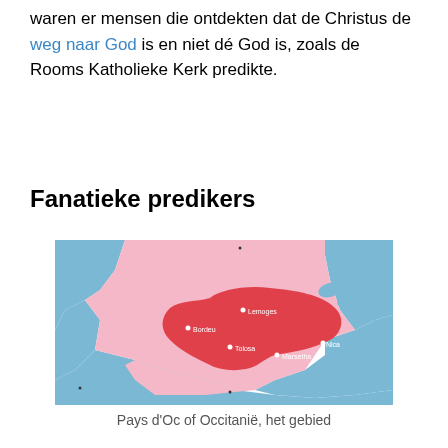waren er mensen die ontdekten dat de Christus de weg naar God is en niet dé God is, zoals de Rooms Katholieke Kerk predikte.
Fanatieke predikers
[Figure (map): Map of southern France showing the Pays d'Oc or Occitania region. Pink background represents the broader region of France, blue areas represent the sea (Atlantic Ocean and Mediterranean Sea). A darker red/crimson shape in the center indicates the Cathar heartland with labeled cities: Lemoges, Bordeu, Tolosa, Marsetha, Nica.]
Pays d'Oc of Occitanië, het gebied